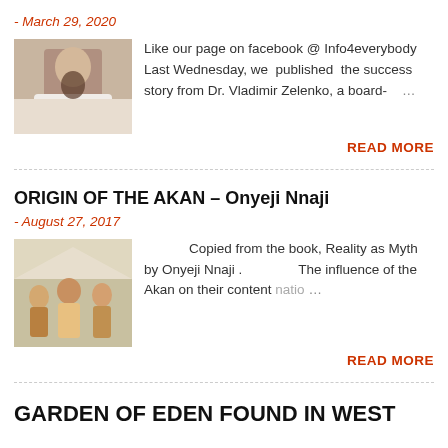- March 29, 2020
[Figure (photo): Photo of a bearded man in white clothing]
Like our page on facebook @ Info4everybody Last Wednesday, we  published  the success story from Dr. Vladimir Zelenko, a board- …
READ MORE
ORIGIN OF THE AKAN – Onyeji Nnaji
- August 27, 2017
[Figure (photo): Photo of a group of people in traditional attire at a gathering]
Copied from the book, Reality as Myth by Onyeji Nnaji .                The influence of the Akan on their content natio …
READ MORE
GARDEN OF EDEN FOUND IN WEST